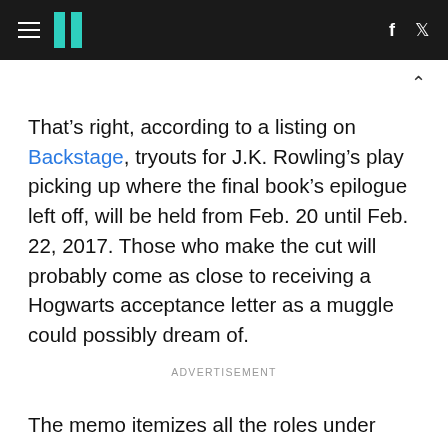HuffPost
That’s right, according to a listing on Backstage, tryouts for J.K. Rowling’s play picking up where the final book’s epilogue left off, will be held from Feb. 20 until Feb. 22, 2017. Those who make the cut will probably come as close to receiving a Hogwarts acceptance letter as a muggle could possibly dream of.
ADVERTISEMENT
The memo itemizes all the roles under